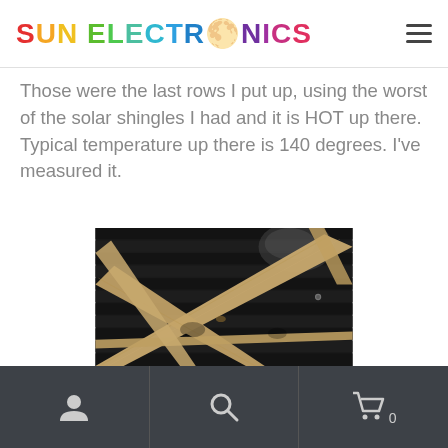SUN ELECTRONICS
Those were the last rows I put up, using the worst of the solar shingles I had and it is HOT up there. Typical temperature up there is 140 degrees. I've measured it.
[Figure (photo): Underside of a roof showing wooden rafters/trusses crossing over dark solar shingles installed on the roof deck, viewed from inside the attic.]
Navigation icons: user account, search, shopping cart (0)